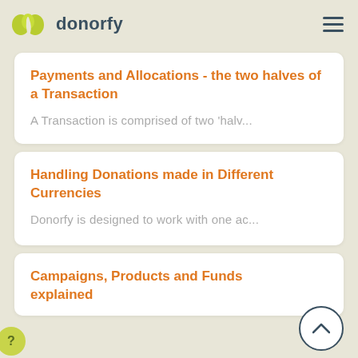donorfy
Payments and Allocations - the two halves of a Transaction
A Transaction is comprised of two 'halv...
Handling Donations made in Different Currencies
Donorfy is designed to work with one ac...
Campaigns, Products and Funds explained